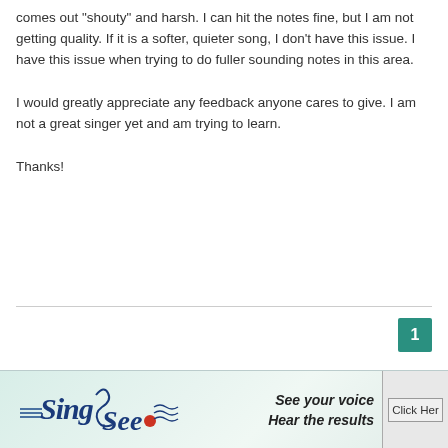comes out “shouty” and harsh. I can hit the notes fine, but I am not getting quality. If it is a softer, quieter song, I don’t have this issue. I have this issue when trying to do fuller sounding notes in this area.
I would greatly appreciate any feedback anyone cares to give. I am not a great singer yet and am trying to learn.
Thanks!
[Figure (logo): SingAndSee advertisement banner with logo on left reading 'Sing & See' in stylized blue script with wave lines and orange dot, text on right reading 'See your voice / Hear the results' in italic bold, and a 'Click Her[e]' button on far right]